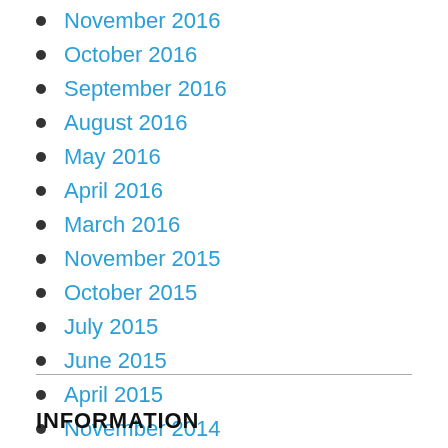November 2016
October 2016
September 2016
August 2016
May 2016
April 2016
March 2016
November 2015
October 2015
July 2015
June 2015
April 2015
November 2014
INFORMATION